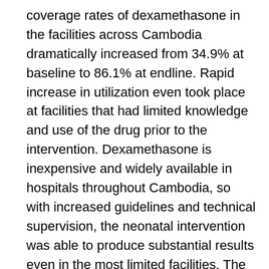coverage rates of dexamethasone in the facilities across Cambodia dramatically increased from 34.9% at baseline to 86.1% at endline. Rapid increase in utilization even took place at facilities that had limited knowledge and use of the drug prior to the intervention. Dexamethasone is inexpensive and widely available in hospitals throughout Cambodia, so with increased guidelines and technical supervision, the neonatal intervention was able to produce substantial results even in the most limited facilities. The coverage rate was only for those women who were at risk of imminent preterm birth.
These results are promising because they